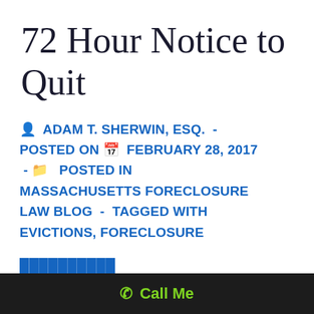72 Hour Notice to Quit
ADAM T. SHERWIN, ESQ.  -  POSTED ON FEBRUARY 28, 2017  -  POSTED IN MASSACHUSETTS FORECLOSURE LAW BLOG  -  TAGGED WITH EVICTIONS, FORECLOSURE
Call Me